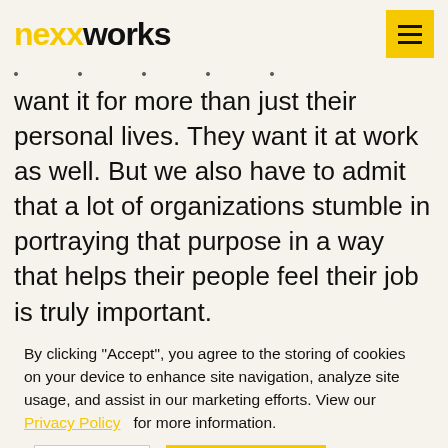nexxworks
want it for more than just their personal lives. They want it at work as well. But we also have to admit that a lot of organizations stumble in portraying that purpose in a way that helps their people feel their job is truly important.
By clicking “Accept”, you agree to the storing of cookies on your device to enhance site navigation, analyze site usage, and assist in our marketing efforts. View our Privacy Policy for more information.
Deny | Accept
[Figure (photo): Dark banner at bottom with text: Tell us about your needs & challenges!]